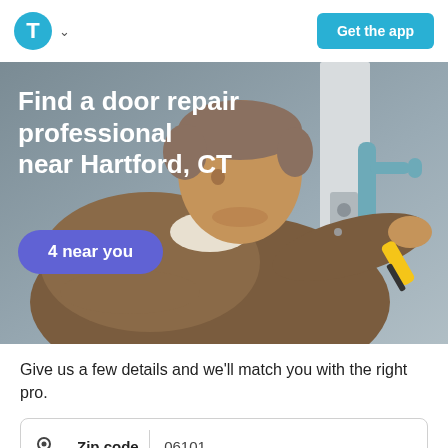[Figure (logo): Thumbtack logo: blue circle with white T letter, with dropdown chevron]
Get the app
[Figure (photo): A technician in a brown jacket using a yellow screwdriver to repair a door lock with a blue handle]
Find a door repair professional near Hartford, CT
4 near you
Give us a few details and we'll match you with the right pro.
Zip code  06101